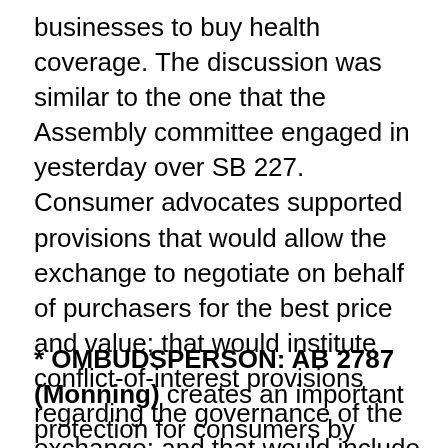businesses to buy health coverage. The discussion was similar to the one that the Assembly committee engaged in yesterday over SB 227. Consumer advocates supported provisions that would allow the exchange to negotiate on behalf of purchasers for the best price and value; that would institute conflict-of-interest provisions regarding the governance of the exchange; and that would include other consumer-friendly policies. This bill, still in progress as many sought additional amendments, passed along party lines.
* OMBUDSPERSON: AB 2787 (Monning) creates an important protection for consumers by establishing an Office of the California Health Ombudsperson to advocate for consumers and